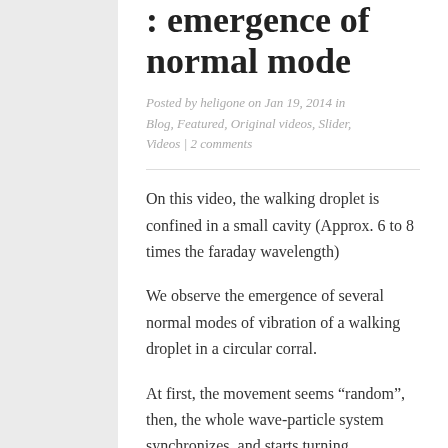: emergence of normal mode
Posted by heligone on Jan 19, 2014 in Blog, Featured, Original videos, Slider, Videos | 2 comments
On this video, the walking droplet is confined in a small cavity (Approx. 6 to 8 times the faraday wavelength)
We observe the emergence of several normal modes of vibration of a walking droplet in a circular corral.
At first, the movement seems “random”, then, the whole wave-particle system synchronizes, and starts turning alltogether.
Differrent modes are possible, with